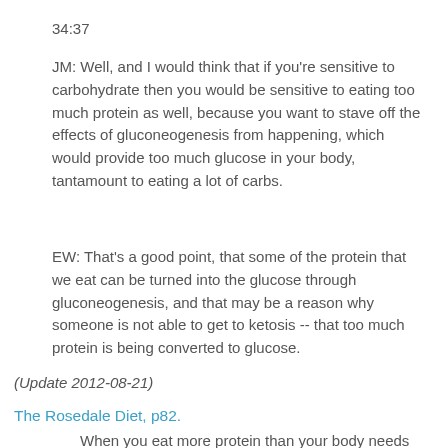34:37
JM: Well, and I would think that if you're sensitive to carbohydrate then you would be sensitive to eating too much protein as well, because you want to stave off the effects of gluconeogenesis from happening, which would provide too much glucose in your body, tantamount to eating a lot of carbs.
EW: That's a good point, that some of the protein that we eat can be turned into the glucose through gluconeogenesis, and that may be a reason why someone is not able to get to ketosis -- that too much protein is being converted to glucose.
(Update 2012-08-21)
The Rosedale Diet, p82.
When you eat more protein than your body needs